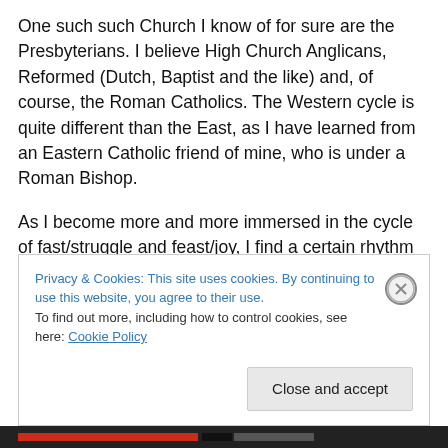One such such Church I know of for sure are the Presbyterians. I believe High Church Anglicans, Reformed (Dutch, Baptist and the like) and, of course, the Roman Catholics. The Western cycle is quite different than the East, as I have learned from an Eastern Catholic friend of mine, who is under a Roman Bishop.

As I become more and more immersed in the cycle of fast/struggle and feast/joy, I find a certain rhythm to my life now. It is a difficult rhythm, to be sure. But a struggle with 2000 years of foundation I can stand on. 2000 years of
Privacy & Cookies: This site uses cookies. By continuing to use this website, you agree to their use.
To find out more, including how to control cookies, see here: Cookie Policy